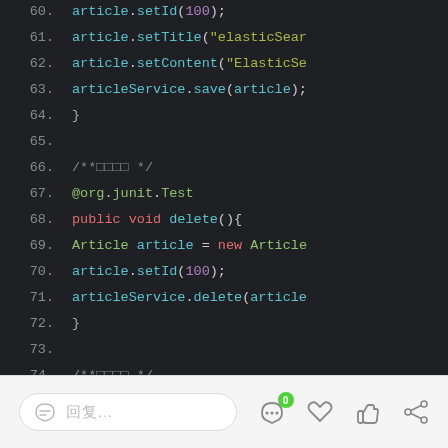[Figure (screenshot): Code editor screenshot showing Java code lines 60-77 with syntax highlighting on dark background. Lines include article.setId(100), article.setTitle, article.setContent, articleService.save(article), a delete() test method, and beginning of save100() method with a for loop.]
[Figure (screenshot): Mobile app bottom toolbar with reply button showing placeholder text, a speech bubble icon with green badge showing 0, a heart icon, thumbs up icon, and share icon.]